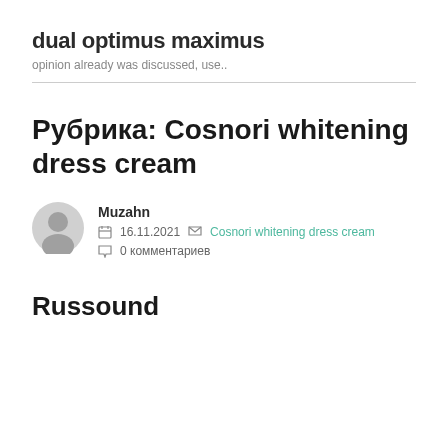dual optimus maximus
opinion already was discussed, use..
Рубрика: Cosnori whitening dress cream
Muzahn
16.11.2021  Cosnori whitening dress cream
0 комментариев
Russound